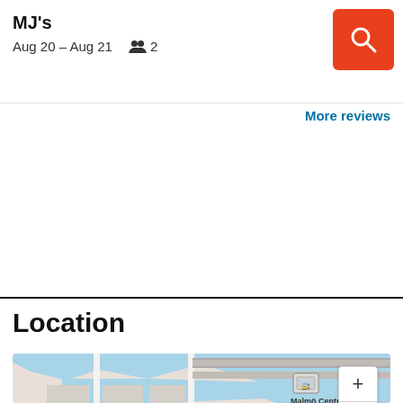MJ's
Aug 20 – Aug 21    👥 2
[Figure (other): Orange search button with magnifying glass icon]
More reviews
Location
[Figure (map): Street map of Malmö city center showing Malmö Central Station, Malmö Live, Västergatan, Sankt Petri kyrka, Teatermuseet, Baltzarsgatan, with a location pin marker in the center of the map and zoom in/out controls.]